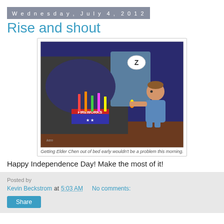Wednesday, July 4, 2012
Rise and shout
[Figure (illustration): Cartoon showing a person lighting fireworks next to a bed where someone is sleeping (with a 'Z' speech bubble). A box labeled 'FIREWORKS' is visible. Caption: Getting Elder Chen out of bed early wouldn't be a problem this morning.]
Getting Elder Chen out of bed early wouldn't be a problem this morning.
Happy Independence Day! Make the most of it!
Kevin Beckstrom at 5:03 AM   No comments:
Share